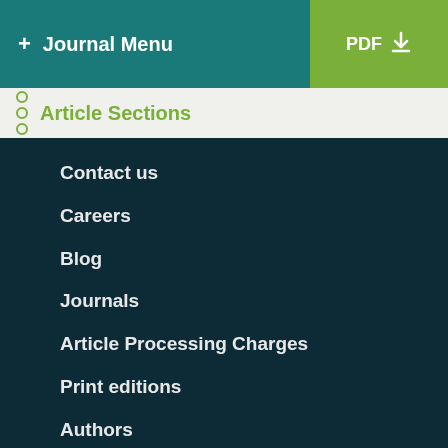+ Journal Menu | PDF
Article Sections
Contact us
Careers
Blog
Journals
Article Processing Charges
Print editions
Authors
Editors
Reviewers
Partnerships